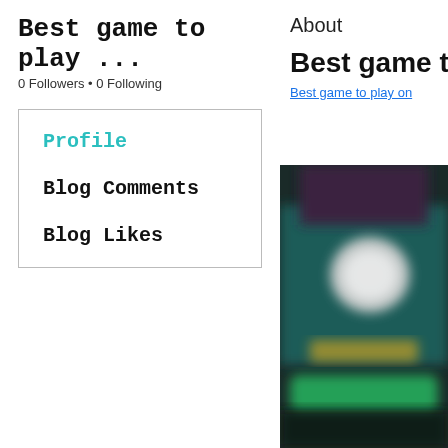Best game to play ...
0 Followers • 0 Following
Profile
Blog Comments
Blog Likes
About
Best game t
Best game to play on
[Figure (screenshot): Blurred screenshot of a mobile game with dark teal background, showing a number '29' or similar, with a green button element at the bottom.]